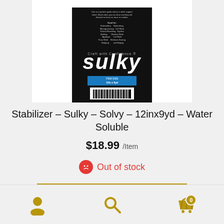[Figure (photo): Product image of Sulky Solvy Water Soluble Stabilizer package, black background with white Sulky logo rotated, barcode at bottom, blue label sticker]
Stabilizer – Sulky – Solvy – 12inx9yd – Water Soluble
$18.99 /Item
Out of stock
Add to cart   Quick View